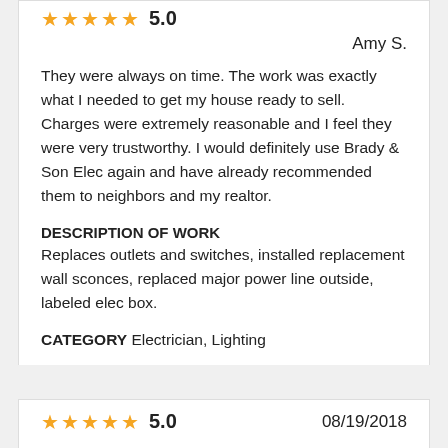Amy S.
They were always on time. The work was exactly what I needed to get my house ready to sell. Charges were extremely reasonable and I feel they were very trustworthy. I would definitely use Brady & Son Elec again and have already recommended them to neighbors and my realtor.
DESCRIPTION OF WORK
Replaces outlets and switches, installed replacement wall sconces, replaced major power line outside, labeled elec box.
CATEGORY Electrician, Lighting
5.0  08/19/2018